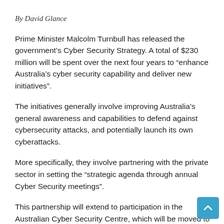By David Glance
Prime Minister Malcolm Turnbull has released the government's Cyber Security Strategy. A total of $230 million will be spent over the next four years to “enhance Australia’s cyber security capability and deliver new initiatives”.
The initiatives generally involve improving Australia’s general awareness and capabilities to defend against cybersecurity attacks, and potentially launch its own cyberattacks.
More specifically, they involve partnering with the private sector in setting the “strategic agenda through annual Cyber Security meetings”.
This partnership will extend to participation in the Australian Cyber Security Centre, which will be moved to a new facili… It will also involve sharing more information between…